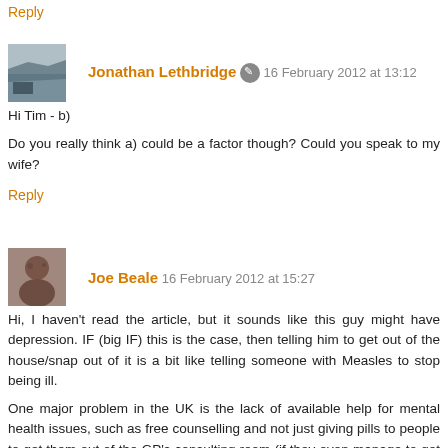Reply
Jonathan Lethbridge  16 February 2012 at 13:12
Hi Tim - b)

Do you really think a) could be a factor though? Could you speak to my wife?
Reply
Joe Beale  16 February 2012 at 15:27
Hi, I haven't read the article, but it sounds like this guy might have depression. IF (big IF) this is the case, then telling him to get out of the house/snap out of it is a bit like telling someone with Measles to stop being ill.

One major problem in the UK is the lack of available help for mental health issues, such as free counselling and not just giving pills to people to get them out of the GP's consulting room (if they even manage to get to their GP's in